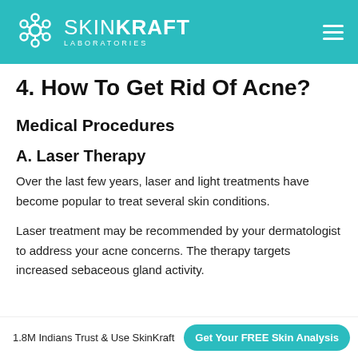SKINKRAFT LABORATORIES
4. How To Get Rid Of Acne?
Medical Procedures
A. Laser Therapy
Over the last few years, laser and light treatments have become popular to treat several skin conditions.
Laser treatment may be recommended by your dermatologist to address your acne concerns. The therapy targets increased sebaceous gland activity.
1.8M Indians Trust & Use SkinKraft  Get Your FREE Skin Analysis